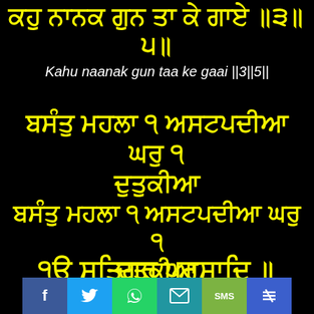ਕਹੁ ਨਾਨਕ ਗੁਨ ਤਾ ਕੇ ਗਾਏ ॥੩॥੫॥
Kahu naanak gun taa ke gaai ||3||5||
ਬਸੰਤੁ ਮਹਲਾ ੧ ਅਸਟਪਦੀਆ ਘਰੁ ੧ ਦੁਤੁਕੀਆ
ਬਸੰਤੁ ਮਹਲਾ ੧ ਅਸਟਪਦੀਆ ਘਰੁ ੧ ਦੁਤੁਕੀਆ
Basanttu mahalaa 1 asatapadeeaa gharu 1 dutukeeaa
੧ੳ ਸਤਿਗੁਰ ਪ੍ਰਸਾਦਿ ॥